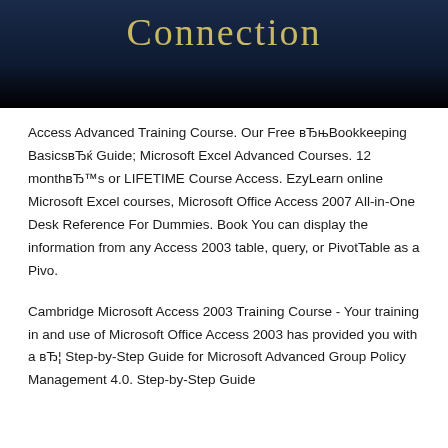[Figure (illustration): Dark blue/black banner with golden serif text reading 'Connection']
Access Advanced Training Course. Our Free вЂњBookkeeping BasicsвЂќ Guide; Microsoft Excel Advanced Courses. 12 monthвЂ™s or LIFETIME Course Access. EzyLearn online Microsoft Excel courses, Microsoft Office Access 2007 All-in-One Desk Reference For Dummies. Book You can display the information from any Access 2003 table, query, or PivotTable as a Pivo.
Cambridge Microsoft Access 2003 Training Course - Your training in and use of Microsoft Office Access 2003 has provided you with a вЂ¦ Step-by-Step Guide for Microsoft Advanced Group Policy Management 4.0. Step-by-Step Guide